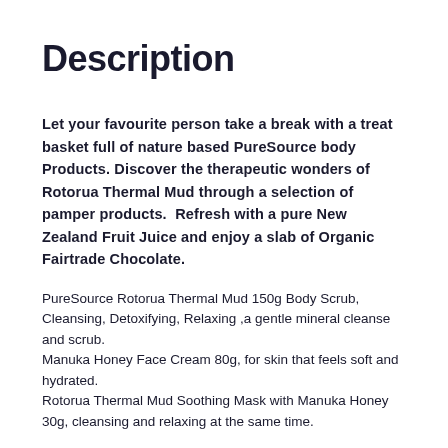Description
Let your favourite person take a break with a treat basket full of nature based PureSource body Products. Discover the therapeutic wonders of Rotorua Thermal Mud through a selection of pamper products.   Refresh with a pure New Zealand Fruit Juice and enjoy a slab of Organic Fairtrade Chocolate.
PureSource Rotorua Thermal Mud 150g Body Scrub, Cleansing, Detoxifying, Relaxing ,a gentle mineral cleanse and scrub.
Manuka Honey Face Cream 80g, for skin that feels soft and hydrated.
Rotorua Thermal Mud Soothing Mask with Manuka Honey 30g, cleansing and relaxing at the same time.